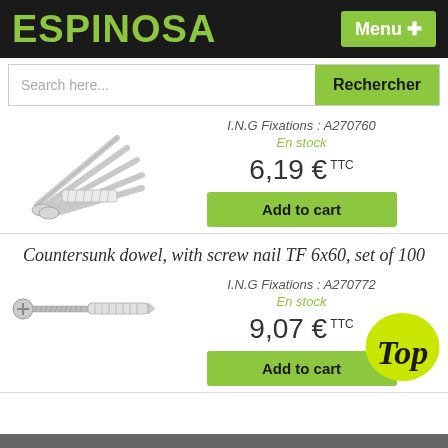ESPINOSA   Menu +
Search here...   Rechercher
[Figure (photo): Bundle of wall plug nails/anchors viewed from above at an angle]
I.N.G Fixations : A270760
En stock
6,19 € TTC
Add to cart
Countersunk dowel, with screw nail TF 6x60, set of 100
[Figure (photo): Single countersunk dowel with screw nail, horizontal view]
I.N.G Fixations : A270772
En stock
9,07 € TTC
Add to cart
[Figure (illustration): Top badge overlay — yellow/green circle with 'Top' text]